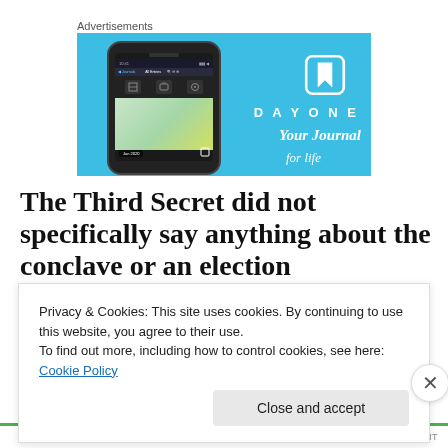Advertisements
[Figure (screenshot): Advertisement banner for DayOne journal app. Blue background with a smartphone showing the DayOne app interface on the left, and the DayOne logo (book with bookmark icon), text 'DAYONE', and 'Your Journal' tagline on the right.]
The Third Secret did not specifically say anything about the conclave or an election
Privacy & Cookies: This site uses cookies. By continuing to use this website, you agree to their use.
To find out more, including how to control cookies, see here: Cookie Policy
Close and accept